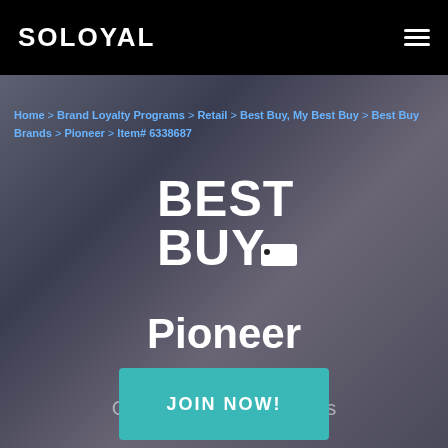SOLOYAL
Home > Brand Loyalty Programs > Retail > Best Buy, My Best Buy > Best Buy Brands > Pioneer > Item# 6338687
[Figure (logo): Best Buy logo in white on dark background: large bold text BEST BUY. with a price-tag icon]
Pioneer
Elite                    oth
Capa                    tmos
4K Ultra HD HDR
[Figure (other): JOIN NOW! call-to-action button in teal/cyan color]